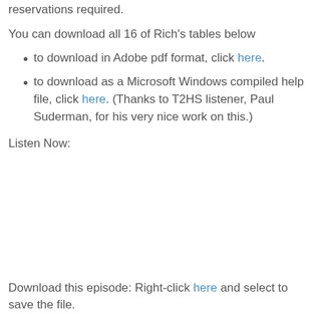reservations required.
You can download all 16 of Rich's tables below
to download in Adobe pdf format, click here.
to download as a Microsoft Windows compiled help file, click here. (Thanks to T2HS listener, Paul Suderman, for his very nice work on this.)
Listen Now:
Download this episode: Right-click here and select to save the file.